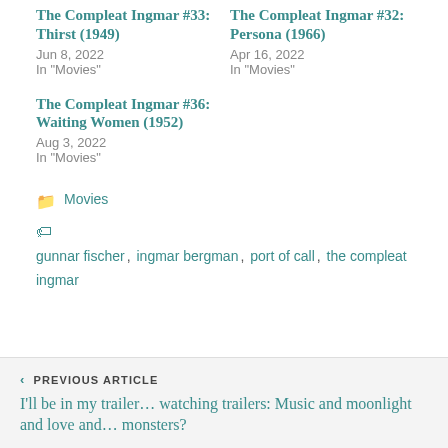The Compleat Ingmar #33: Thirst (1949)
Jun 8, 2022
In "Movies"
The Compleat Ingmar #32: Persona (1966)
Apr 16, 2022
In "Movies"
The Compleat Ingmar #36: Waiting Women (1952)
Aug 3, 2022
In "Movies"
Movies
gunnar fischer, ingmar bergman, port of call, the compleat ingmar
PREVIOUS ARTICLE
I'll be in my trailer… watching trailers: Music and moonlight and love and… monsters?